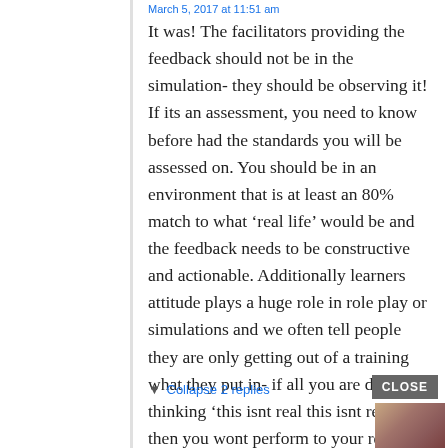March 5, 2017 at 11:51 am
It was! The facilitators providing the feedback should not be in the simulation- they should be observing it! If its an assessment, you need to know before had the standards you will be assessed on. You should be in an environment that is at least an 80% match to what ‘real life’ would be and the feedback needs to be constructive and actionable. Additionally learners attitude plays a huge role in role play or simulations and we often tell people they are only getting out of a training what they put in- if all you are doing is thinking ‘this isnt real this isnt real’ then you wont perform to your real standard either.
Collapse 2 replies
[Figure (screenshot): Macy's advertisement banner: red background with white text 'KISS BORING LIPS GOODBYE', a SHOP NOW button with border, Macy's logo with star, and a photo of a woman with red lips.]